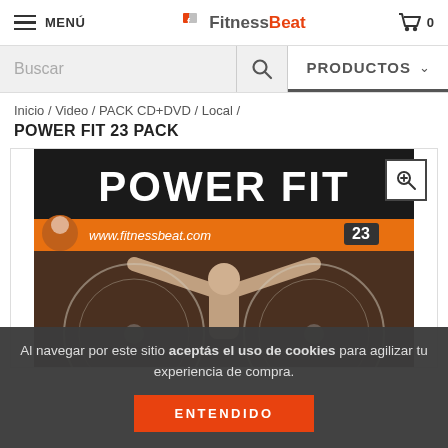MENÚ | FitnessBeat | 0
Buscar | PRODUCTOS
Inicio / Video / PACK CD+DVD / Local /
POWER FIT 23 PACK
[Figure (photo): Product cover image for Power Fit 23 Pack showing a person doing gymnastics rings exercise with the text POWER FIT and www.fitnessbeat.com 23 on an orange banner]
Al navegar por este sitio aceptás el uso de cookies para agilizar tu experiencia de compra. ENTENDIDO